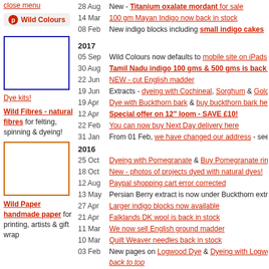close menu
[Figure (logo): Pinterest Wild Colours badge]
[Figure (photo): Blue bordered empty image box]
Dye kits!
Wild Fibres - natural fibres for felting, spinning & dyeing!
[Figure (photo): Orange bordered empty image box]
Wild Paper handmade paper for printing, artists & gift wrap
28 Aug - New - Titanium oxalate mordant for sale
14 Mar - 100 gm Mayan Indigo now back in stock
08 Feb - New indigo blocks including small indigo cakes
2017
05 Sep - Wild Colours now defaults to mobile site on iPads & tab
30 Aug - Tamil Nadu indigo 100 gms & 500 gms is back in st
22 Jun - NEW - cut English madder
19 Jun - Extracts - dyeing with Cochineal, Sorghum & Goldenro
19 Apr - Dye with Buckthorn bark & buy buckthorn bark here
12 Apr - Special offer on 12" loom - SAVE £10!
22 Feb - You can now buy Next Day delivery here
31 Jan - From 01 Feb, we have changed our address - see foote
2016
25 Oct - Dyeing with Pomegranate & Buy Pomegranate rind
18 Oct - New - photos of projects dyed with natural dyes!
12 Aug - Paypal shopping cart error corrected
13 May - Persian Berry extract is now under Buckthorn extract
27 Apr - Larger indigo blocks now available
21 Apr - Falklands DK wool is back in stock
11 Mar - We now sell English ground madder
10 Mar - Quilt Weaver needles back in stock
03 Feb - New pages on Logwood Dye & Dyeing with Logwood
back to top